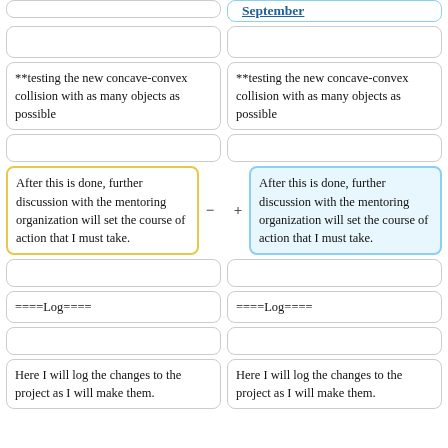September
**testing the new concave-convex collision with as many objects as possible
**testing the new concave-convex collision with as many objects as possible
After this is done, further discussion with the mentoring organization will set the course of action that I must take.
After this is done, further discussion with the mentoring organization will set the course of action that I must take.
====Log====
====Log====
Here I will log the changes to the project as I will make them.
Here I will log the changes to the project as I will make them.